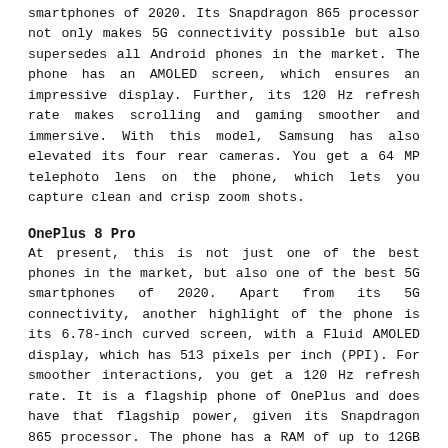smartphones of 2020. Its Snapdragon 865 processor not only makes 5G connectivity possible but also supersedes all Android phones in the market. The phone has an AMOLED screen, which ensures an impressive display. Further, its 120 Hz refresh rate makes scrolling and gaming smoother and immersive. With this model, Samsung has also elevated its four rear cameras. You get a 64 MP telephoto lens on the phone, which lets you capture clean and crisp zoom shots.
OnePlus 8 Pro
At present, this is not just one of the best phones in the market, but also one of the best 5G smartphones of 2020. Apart from its 5G connectivity, another highlight of the phone is its 6.78-inch curved screen, with a Fluid AMOLED display, which has 513 pixels per inch (PPI). For smoother interactions, you get a 120 Hz refresh rate. It is a flagship phone of OnePlus and does have that flagship power, given its Snapdragon 865 processor. The phone has a RAM of up to 12GB and an incredible quad camera of 48 MP. OnePlus 8 Pro does not disappoint with the battery either. It has a massive battery power of 4510 mAh, which will easily last you